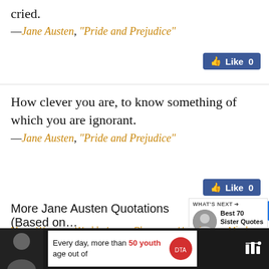cried.
—Jane Austen, "Pride and Prejudice"
How clever you are, to know something of which you are ignorant.
—Jane Austen, "Pride and Prejudice"
More Jane Austen Quotations (Based on...
Man - Woman - World - Love - Pleasure - Happiness - Mind -
Every day, more than 50 youth age out of